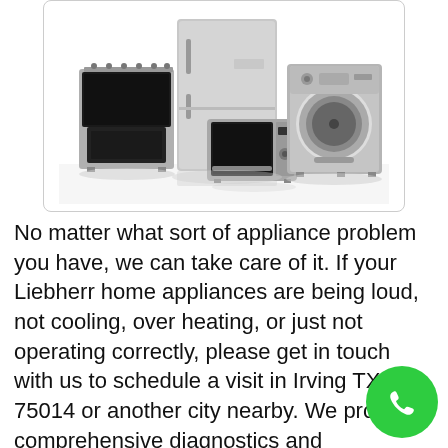[Figure (photo): Photo of household appliances: stove/range, tall refrigerator, microwave oven, and washing machine, all in stainless steel finish, arranged together on a white background inside a rounded rectangle border.]
No matter what sort of appliance problem you have, we can take care of it. If your Liebherr home appliances are being loud, not cooling, over heating, or just not operating correctly, please get in touch with us to schedule a visit in Irving TX 75014 or another city nearby. We provide comprehensive diagnostics and troubleshooting, and our technicians will find the cause of the issue, repair it, and make sure your appliances are running just like new. Once we get in touch, we can setup an appointment